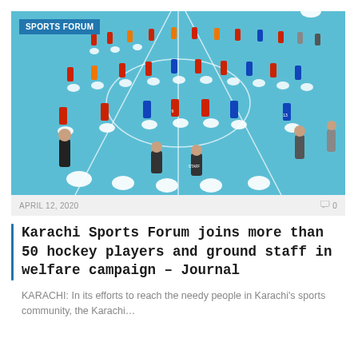[Figure (photo): Aerial view of a blue hockey field with more than 50 people — players in red and blue jerseys and staff — gathered in a large group, with white bags distributed on the ground between them. A 'SPORTS FORUM' badge is overlaid on the top-left corner of the image.]
APRIL 12, 2020
0 0
Karachi Sports Forum joins more than 50 hockey players and ground staff in welfare campaign – Journal
KARACHI: In its efforts to reach the needy people in Karachi's sports community, the Karachi…